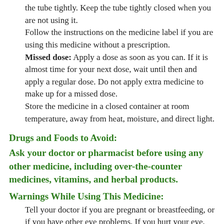the tube tightly. Keep the tube tightly closed when you are not using it. Follow the instructions on the medicine label if you are using this medicine without a prescription. Missed dose: Apply a dose as soon as you can. If it is almost time for your next dose, wait until then and apply a regular dose. Do not apply extra medicine to make up for a missed dose. Store the medicine in a closed container at room temperature, away from heat, moisture, and direct light.
Drugs and Foods to Avoid:
Ask your doctor or pharmacist before using any other medicine, including over-the-counter medicines, vitamins, and herbal products.
Warnings While Using This Medicine:
Tell your doctor if you are pregnant or breastfeeding, or if you have other eye problems. If you hurt your eye, develop an eye infection, or